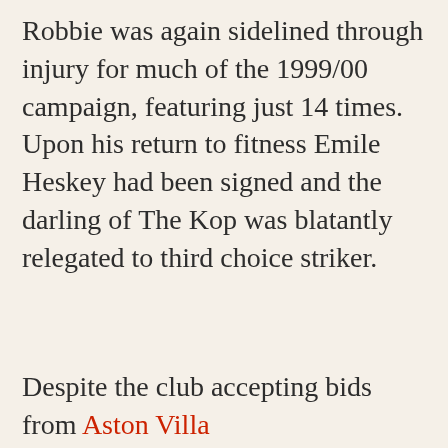Robbie was again sidelined through injury for much of the 1999/00 campaign, featuring just 14 times. Upon his return to fitness Emile Heskey had been signed and the darling of The Kop was blatantly relegated to third choice striker.
Despite the club accepting bids from Aston Villa